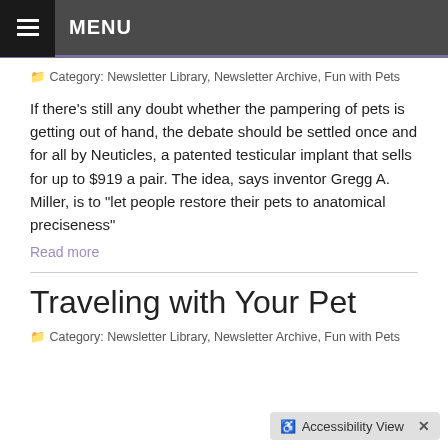MENU
Category: Newsletter Library, Newsletter Archive, Fun with Pets
If there's still any doubt whether the pampering of pets is getting out of hand, the debate should be settled once and for all by Neuticles, a patented testicular implant that sells for up to $919 a pair. The idea, says inventor Gregg A. Miller, is to "let people restore their pets to anatomical preciseness"
Read more
Traveling with Your Pet
Category: Newsletter Library, Newsletter Archive, Fun with Pets